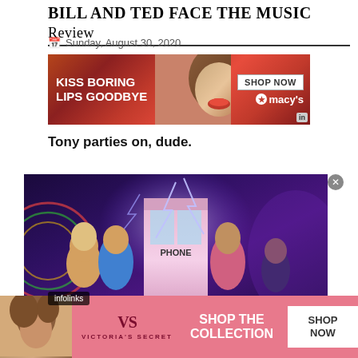BILL AND TED FACE THE MUSIC Review
Sunday, August 30, 2020
[Figure (photo): Advertisement banner: KISS BORING LIPS GOODBYE - SHOP NOW - macys]
Tony parties on, dude.
[Figure (photo): Movie promotional image for Bill and Ted Face the Music showing cast members in front of a phone booth with lightning effects. infolinks badge visible.]
[Figure (photo): Victoria's Secret advertisement: SHOP THE COLLECTION - SHOP NOW, with model and VS logo]